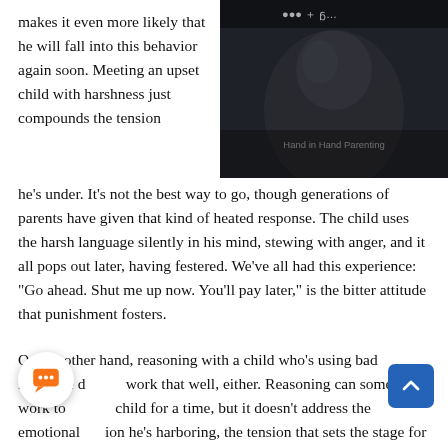makes it even more likely that he will fall into this behavior again soon. Meeting an upset child with harshness just compounds the tension
[Figure (photo): Dark moody photo of a child with text overlay 'Hand in Hand Parenting' and partially visible numbers/icons at top]
he's under. It's not the best way to go, though generations of parents have given that kind of heated response. The child uses the harsh language silently in his mind, stewing with anger, and it all pops out later, having festered. We've all had this experience: "Go ahead. Shut me up now. You'll pay later," is the bitter attitude that punishment fosters.
On the other hand, reasoning with a child who's using bad language doesn't work that well, either. Reasoning can sometimes work to quiet a child for a time, but it doesn't address the emotional tension he's harboring, the tension that sets the stage for the harsh behavior.